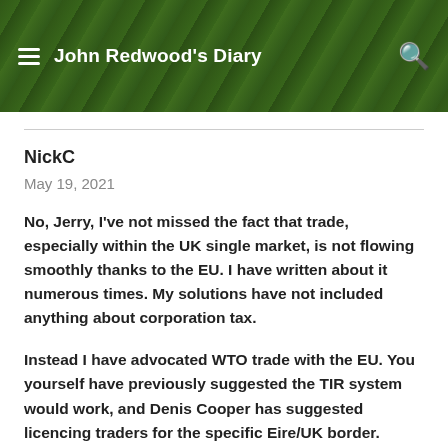John Redwood's Diary
NickC
May 19, 2021
No, Jerry, I've not missed the fact that trade, especially within the UK single market, is not flowing smoothly thanks to the EU. I have written about it numerous times. My solutions have not included anything about corporation tax.
Instead I have advocated WTO trade with the EU. You yourself have previously suggested the TIR system would work, and Denis Cooper has suggested licencing traders for the specific Eire/UK border. Modern (legitimate) trade is in any case fully documented – the EU could simply be allowed access to those documents as well. So there is no need for a hard border, or